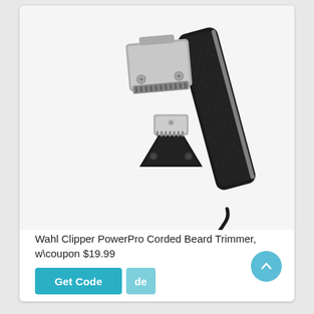[Figure (photo): Wahl Clipper PowerPro corded beard trimmer product photo showing the black carbon-fiber-textured trimmer body, a large flat blade attachment, and a smaller triangular blade attachment, with a black cord visible at the bottom.]
Wahl Clipper PowerPro Corded Beard Trimmer, w\coupon $19.99
[Figure (other): Teal 'Get Code' button with a lighter teal overlapping element showing 'de' text]
Updated 4 years ago